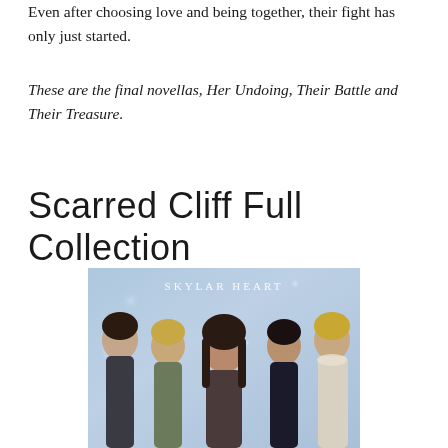Even after choosing love and being together, their fight has only just started.
These are the final novellas, Her Undoing, Their Battle and Their Treasure.
Scarred Cliff Full Collection
[Figure (illustration): Book cover image for 'Scarred Cliff Full Collection' by Skylar Heart, showing five attractive people (four men and one woman) posed together against a soft blue bokeh background. The text 'SKYLAR HEART' is displayed at the top of the cover.]